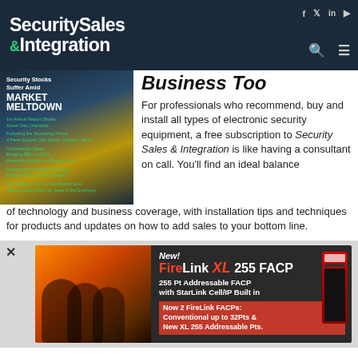Security Sales & Integration
Business Too
For professionals who recommend, buy and install all types of electronic security equipment, a free subscription to Security Sales & Integration is like having a consultant on call. You'll find an ideal balance of technology and business coverage, with installation tips and techniques for products and updates on how to add sales to your bottom line.
[Figure (advertisement): FireLink XL 255 FACP advertisement banner showing firefighters and product. Text: New! FireLink XL 255 FACP, 255 Pt Addressable FACP with StarLink Cell/IP Built in, Now 2 FireLink FACPs: Conventional up to 32Pts & New XL 255 Addressable Pts.]